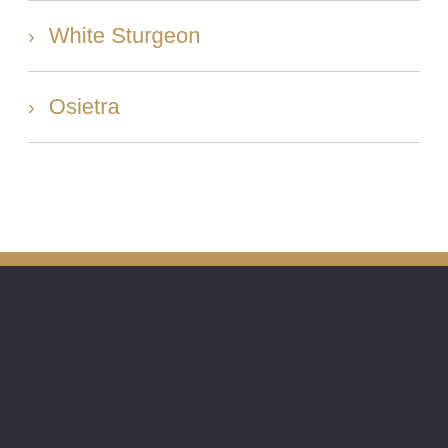> White Sturgeon
> Osietra
[Figure (logo): Order Caviar circular logo on dark navy background with gold accents and text]
GMC (LEVANT) LTD
75, Arch. Makariou III Avenue
Nicosia, CY-1070